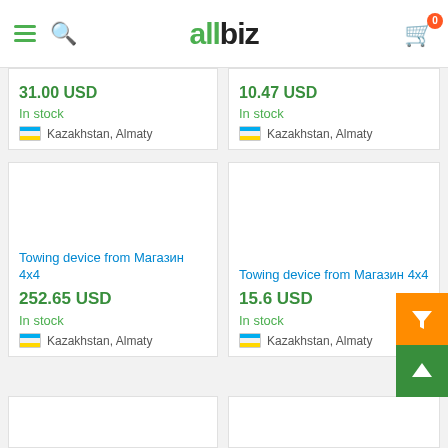allbiz
31.00 USD
In stock
Kazakhstan, Almaty
10.47 USD
In stock
Kazakhstan, Almaty
Towing device from Магазин 4x4
252.65 USD
In stock
Kazakhstan, Almaty
Towing device from Магазин 4x4
15.6 USD
In stock
Kazakhstan, Almaty